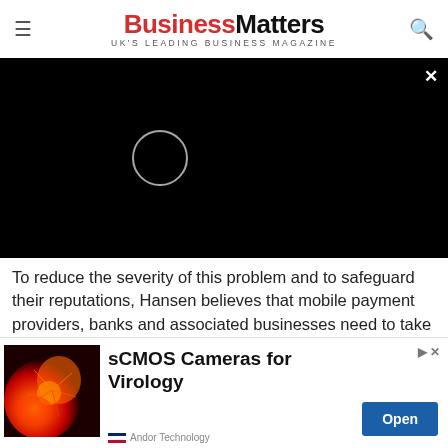Business Matters — UK'S LEADING BUSINESS MAGAZINE
[Figure (screenshot): Black video player area with circular loading spinner and close (x) button in top right]
To reduce the severity of this problem and to safeguard their reputations, Hansen believes that mobile payment providers, banks and associated businesses need to take a twofold approach to security: encourage responsible user behaviour as a core tenet of their implementation and advertising campaigns, [and t]ake the initiative in securing their own apps.
[Figure (infographic): Advertisement banner: sCMOS Cameras for Virology by Andor Technology, with orange/red microscopy image on left and Open button on right]